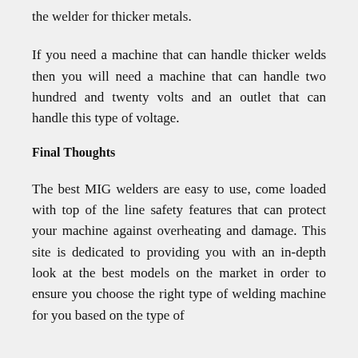the welder for thicker metals.
If you need a machine that can handle thicker welds then you will need a machine that can handle two hundred and twenty volts and an outlet that can handle this type of voltage.
Final Thoughts
The best MIG welders are easy to use, come loaded with top of the line safety features that can protect your machine against overheating and damage. This site is dedicated to providing you with an in-depth look at the best models on the market in order to ensure you choose the right type of welding machine for you based on the type of